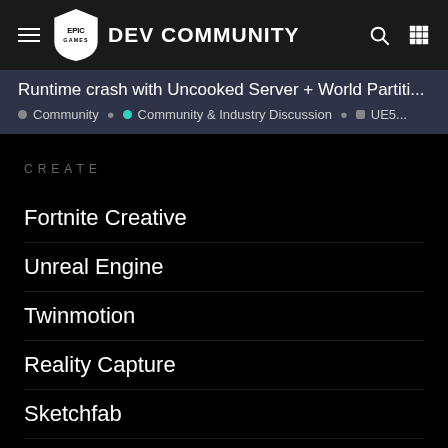Epic Games DEV COMMUNITY
Runtime crash with Uncooked Server + World Partiti...
Community • Community & Industry Discussion • UE5...
CREATE
Fortnite Creative
Unreal Engine
Twinmotion
Reality Capture
Sketchfab
MetaHuman
Megascans